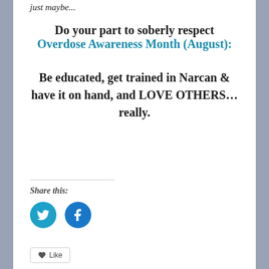just maybe...
Do your part to soberly respect Overdose Awareness Month (August):
Be educated, get trained in Narcan & have it on hand, and LOVE OTHERS... really.
Share this:
[Figure (illustration): Twitter bird icon button (teal circle) and Facebook 'f' icon button (blue circle) for sharing]
[Figure (illustration): Like button widget at bottom]